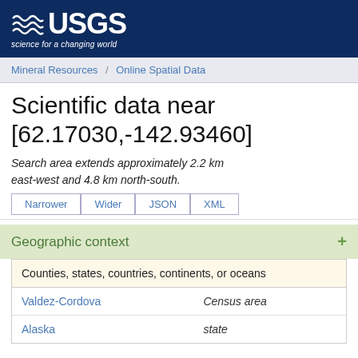[Figure (logo): USGS logo with wave graphic and tagline 'science for a changing world' on dark blue background]
Mineral Resources / Online Spatial Data
Scientific data near [62.17030,-142.93460]
Search area extends approximately 2.2 km east-west and 4.8 km north-south.
Narrower
Wider
JSON
XML
Geographic context
| Counties, states, countries, continents, or oceans |  |
| --- | --- |
| Valdez-Cordova | Census area |
| Alaska | state |